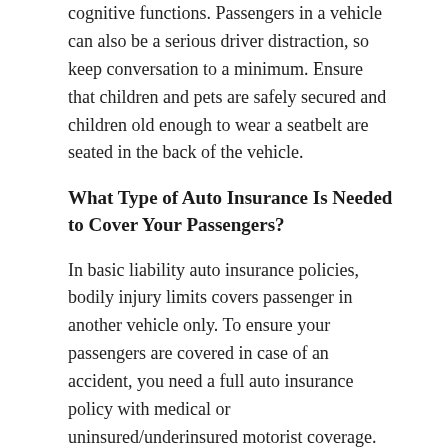distraction, as it involves manual, visual, and cognitive functions. Passengers in a vehicle can also be a serious driver distraction, so keep conversation to a minimum. Ensure that children and pets are safely secured and children old enough to wear a seatbelt are seated in the back of the vehicle.
What Type of Auto Insurance Is Needed to Cover Your Passengers?
In basic liability auto insurance policies, bodily injury limits covers passenger in another vehicle only. To ensure your passengers are covered in case of an accident, you need a full auto insurance policy with medical or uninsured/underinsured motorist coverage.
A full coverage auto insurance policy that includes